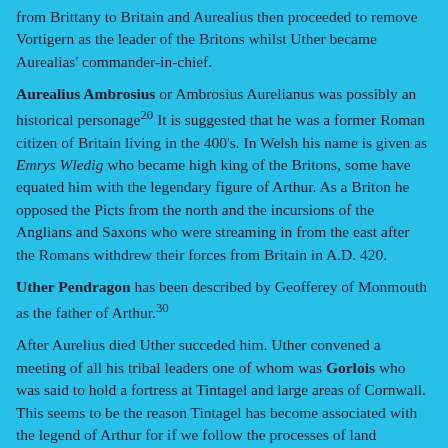from Brittany to Britain and Aurealius then proceeded to remove Vortigern as the leader of the Britons whilst Uther became Aurealias' commander-in-chief.
Aurealius Ambrosius or Ambrosius Aurelianus was possibly an historical personage²⁰ It is suggested that he was a former Roman citizen of Britain living in the 400's. In Welsh his name is given as Emrys Wledig who became high king of the Britons, some have equated him with the legendary figure of Arthur. As a Briton he opposed the Picts from the north and the incursions of the Anglians and Saxons who were streaming in from the east after the Romans withdrew their forces from Britain in A.D. 420.
Uther Pendragon has been described by Geofferey of Monmouth as the father of Arthur.³⁰
After Aurelius died Uther succeded him. Uther convened a meeting of all his tribal leaders one of whom was Gorlois who was said to hold a fortress at Tintagel and large areas of Cornwall. This seems to be the reason Tintagel has become associated with the legend of Arthur for if we follow the processes of land inheritance taken by the sword, Arthur would have been the eventual beneficiary. Gorlois was married to a much younger Ygernia whom Uther greatly coveted, and by trickery. Uther managed to inseminate Ygernia at Gorlois' fortress by disguising himself as Gorlois